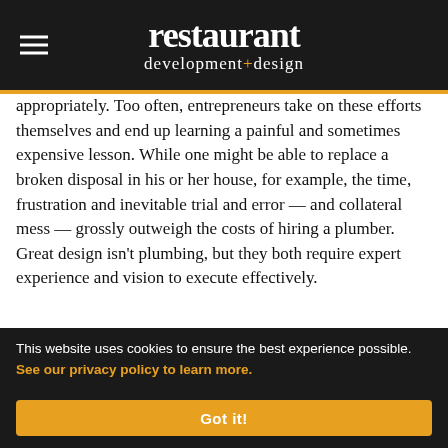restaurant development+design
appropriately. Too often, entrepreneurs take on these efforts themselves and end up learning a painful and sometimes expensive lesson. While one might be able to replace a broken disposal in his or her house, for example, the time, frustration and inevitable trial and error — and collateral mess — grossly outweigh the costs of hiring a plumber. Great design isn't plumbing, but they both require expert experience and vision to execute effectively.
[Figure (photo): Interior restaurant ceiling photo showing warm wood tones and recessed lighting]
This website uses cookies to ensure the best experience possible. See our privacy policy to learn more.
Got it!